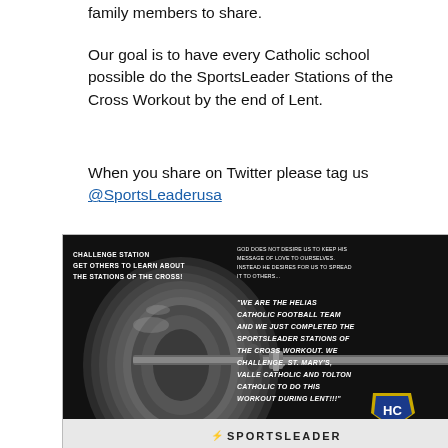family members to share.
Our goal is to have every Catholic school possible do the SportsLeader Stations of the Cross Workout by the end of Lent.
When you share on Twitter please tag us @SportsLeaderusa
[Figure (photo): Black and white photo of a barbell with weight plates. Overlaid text reads: 'CHALLENGE STATION GET OTHERS TO LEARN ABOUT THE STATIONS OF THE CROSS!' and 'GOD DOES NOT DESIRE US TO KEEP HIS MESSAGE OF LOVE TO OURSELVES. INSTEAD HE DESIRES FOR US TO SPREAD IT TO OTHERS...' and quote from Helias Catholic Football Team challenging other schools to complete the SportsLeader Stations of the Cross Workout during Lent. Includes Helias Catholic (HC) gold shield logo. Bottom bar shows SPORTSLEADER logo.]